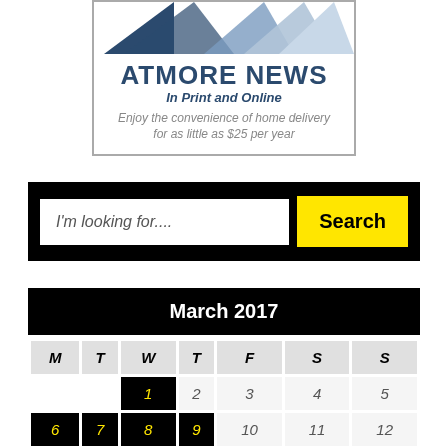[Figure (illustration): Atmore News advertisement banner with geometric triangle shapes and newspaper subscription offer]
[Figure (screenshot): Search bar UI element with italic placeholder text 'I'm looking for....' and yellow Search button on black background]
| M | T | W | T | F | S | S |
| --- | --- | --- | --- | --- | --- | --- |
|  |  | 1 | 2 | 3 | 4 | 5 |
| 6 | 7 | 8 | 9 | 10 | 11 | 12 |